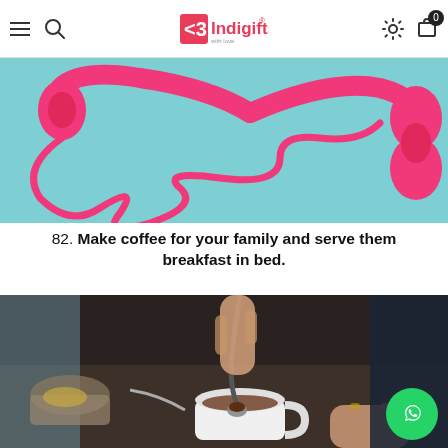Indigifts — navigation header with logo, search, settings, and cart
[Figure (photo): Pink headphones with curly cord on a light blue background, cropped top portion visible]
82. Make coffee for your family and serve them breakfast in bed.
[Figure (photo): Person spooning instant coffee grounds into a white mug, breakfast items visible in background]